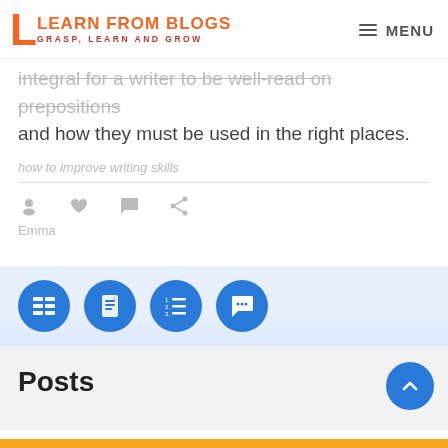LEARN FROM BLOGS — GRASP, LEARN AND GROW | MENU
integral for a writer to be well-read on prepositions and how they must be used in the right places.
how to improve writing skills
Emma
[Figure (infographic): Blue toolbar with four circular blue icon buttons: list/grid icon, document icon, numbered list icon, chat/comment icon]
Posts
[Figure (infographic): Orange horizontal bar at the bottom of the page]